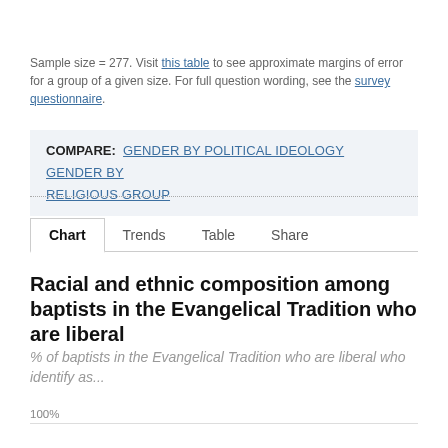Sample size = 277. Visit this table to see approximate margins of error for a group of a given size. For full question wording, see the survey questionnaire.
COMPARE: GENDER BY POLITICAL IDEOLOGY   GENDER BY RELIGIOUS GROUP
Chart   Trends   Table   Share
Racial and ethnic composition among baptists in the Evangelical Tradition who are liberal
% of baptists in the Evangelical Tradition who are liberal who identify as...
100%